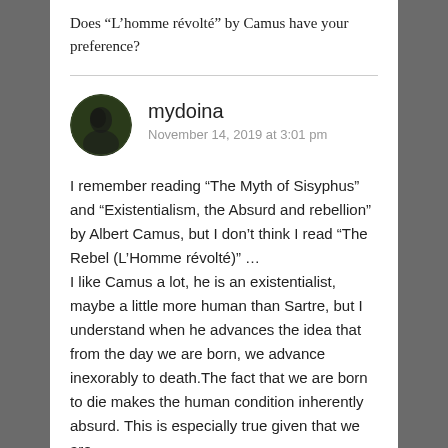Does “L’homme révolté” by Camus have your preference?
[Figure (photo): Circular avatar image with dark green/black tones showing a silhouette of a person]
mydoina
November 14, 2019 at 3:01 pm
I remember reading “The Myth of Sisyphus” and “Existentialism, the Absurd and rebellion” by Albert Camus, but I don’t think I read “The Rebel (L’Homme révolté)” …
I like Camus a lot, he is an existentialist, maybe a little more human than Sartre, but I understand when he advances the idea that from the day we are born, we advance inexorably to death.The fact that we are born to die makes the human condition inherently absurd. This is especially true given that we are